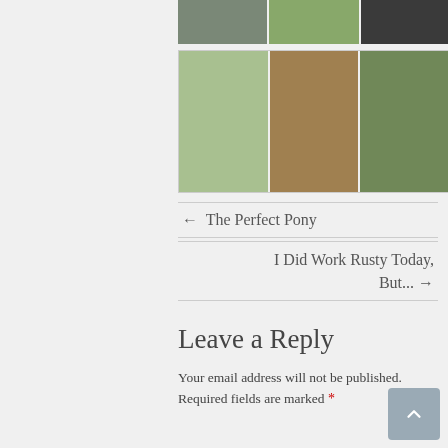[Figure (photo): Top strip of three outdoor/farm photos partially visible at top of page]
[Figure (photo): Grid of three farm/countryside photos showing fields, muddy ground, and horses]
← The Perfect Pony
I Did Work Rusty Today, But... →
Leave a Reply
Your email address will not be published. Required fields are marked *